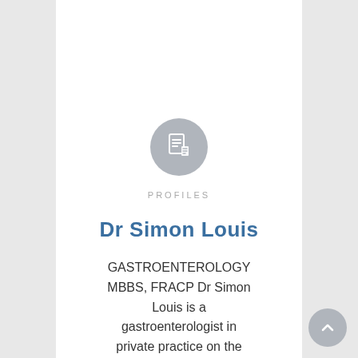[Figure (illustration): Gray circular icon with a document/profile page symbol in white, centered on page]
PROFILES
Dr Simon Louis
GASTROENTEROLOGY MBBS, FRACP Dr Simon Louis is a gastroenterologist in private practice on the